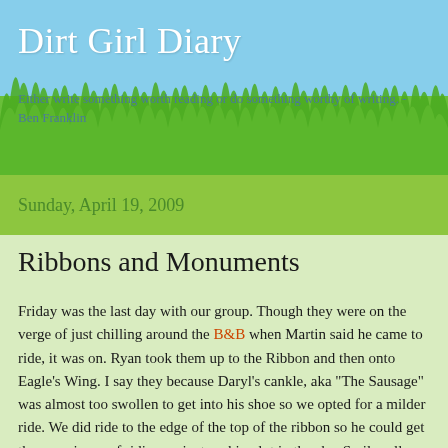Dirt Girl Diary
Either write something worth reading or do something worthy of writing. - Ben Franklin
Sunday, April 19, 2009
Ribbons and Monuments
Friday was the last day with our group. Though they were on the verge of just chilling around the B&B when Martin said he came to ride, it was on. Ryan took them up to the Ribbon and then onto Eagle's Wing. I say they because Daryl's cankle, aka "The Sausage" was almost too swollen to get into his shoe so we opted for a milder ride. We did ride to the edge of the top of the ribbon so he could get the experience of riding a giant parking lot in the sky. Smiles all around for doing that.
From there we drove to the lunch loop area andd rode the